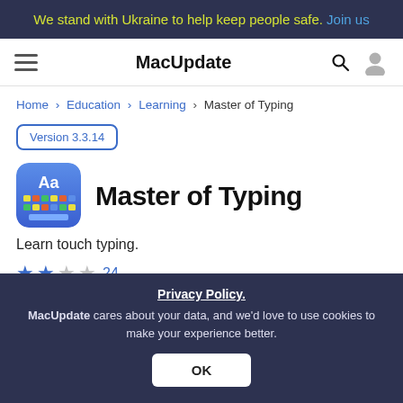We stand with Ukraine to help keep people safe. Join us
MacUpdate
Home > Education > Learning > Master of Typing
Version 3.3.14
Master of Typing
Learn touch typing.
★★☆☆ 24
Privacy Policy. MacUpdate cares about your data, and we'd love to use cookies to make your experience better. OK
Follow this app